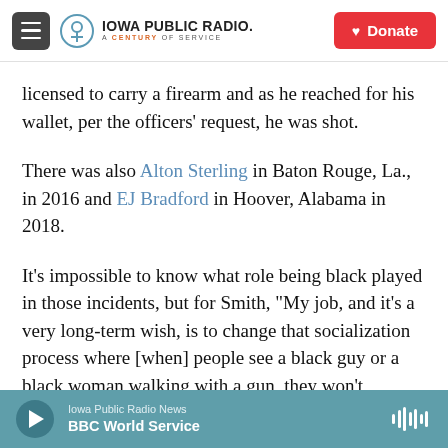Iowa Public Radio. A Century of Service. Donate
licensed to carry a firearm and as he reached for his wallet, per the officers' request, he was shot.
There was also Alton Sterling in Baton Rouge, La., in 2016 and EJ Bradford in Hoover, Alabama in 2018.
It's impossible to know what role being black played in those incidents, but for Smith, "My job, and it's a very long-term wish, is to change that socialization process where [when] people see a black guy or a black woman walking with a gun, they won't automatically say, 'He or she is a thug' or 'He or she
Iowa Public Radio News — BBC World Service